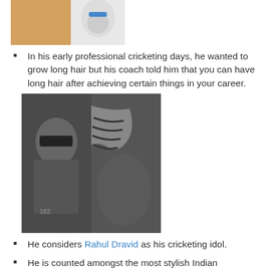[Figure (photo): Partial photo visible at top of page, appears to be a person in a white jersey/coat]
In his early professional cricketing days, he wanted to grow long hair but his coach told him that you can have long hair after achieving certain things in your career.
[Figure (photo): Black and white composite photo showing a man with sunglasses and tattoos on the left, and a close-up of a man with braided/cornrow hair on the right]
He considers Rahul Dravid as his cricketing idol.
He is counted amongst the most stylish Indian cricketers, who considers David Beckham as his style icon, who inspired him to get his first tattoo at the age of 15, and when his mother came to know about it, she got so upset with it that she didn't talk with him for some time.
At the age of 17, he moved to Bengaluru to pursue his cricket